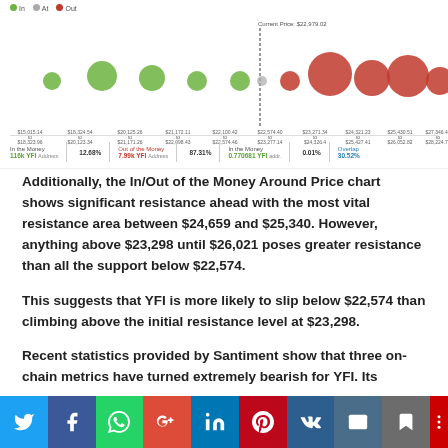[Figure (bubble-chart): In/Out of the Money Around Price chart for YFI showing green bubbles (In the Money) on the left side and red bubbles (Out of the Money) on the right side, with a dashed vertical line indicating current price around $22,979.02. Legend shows In, At, Out categories. Stats below show: In the Money 116k YFI 12.68%, Out of the Money 7.99k YFI 87.31%, In the Money 0.770681 YFI 0.01%, Overlap 30.52%]
Additionally, the In/Out of the Money Around Price chart shows significant resistance ahead with the most vital resistance area between $24,659 and $25,340. However, anything above $23,298 until $26,021 poses greater resistance than all the support below $22,574.
This suggests that YFI is more likely to slip below $22,574 than climbing above the initial resistance level at $23,298.
Recent statistics provided by Santiment show that three on-chain metrics have turned extremely bearish for YFI. Its